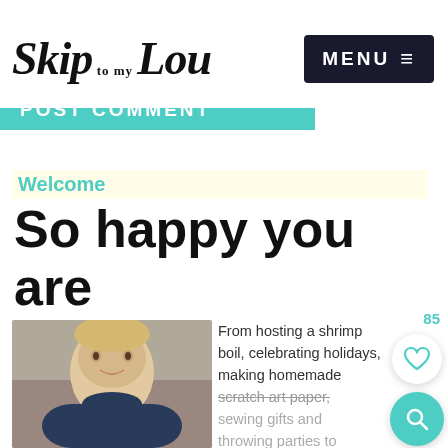Skip to my Lou | MENU
POST COMMENT
Welcome
So happy you are here!
[Figure (photo): Portrait of a smiling blonde woman in a dark top]
From hosting a shrimp boil, celebrating holidays, making homemade scratch art paper, sewing gifts and throwing parties to